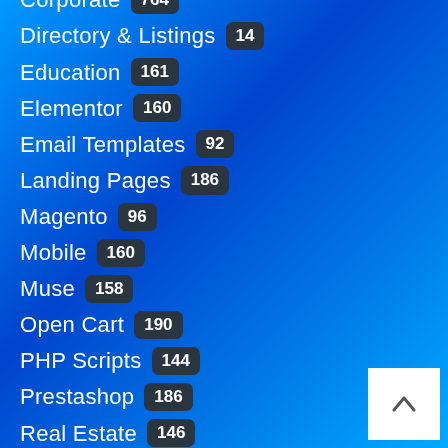Corporate 764
Directory & Listings 14
Education 161
Elementor 160
Email Templates 92
Landing Pages 186
Magento 96
Mobile 160
Muse 158
Open Cart 190
PHP Scripts 144
Prestashop 186
Real Estate 146
Shopify 186
Uncategorized 35
Woocommerce 186
Wordpress 2